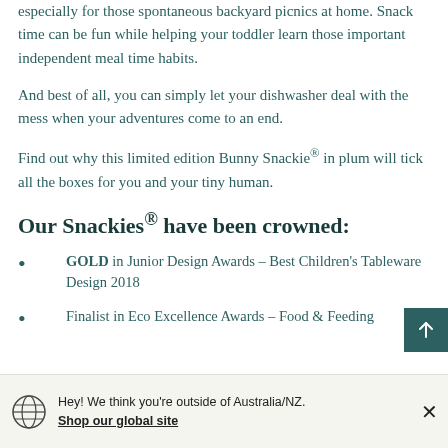especially for those spontaneous backyard picnics at home. Snack time can be fun while helping your toddler learn those important independent meal time habits.
And best of all, you can simply let your dishwasher deal with the mess when your adventures come to an end.
Find out why this limited edition Bunny Snackie® in plum will tick all the boxes for you and your tiny human.
Our Snackies® have been crowned:
GOLD in Junior Design Awards – Best Children's Tableware Design 2018
Finalist in Eco Excellence Awards – Food & Feeding
Hey! We think you're outside of Australia/NZ. Shop our global site